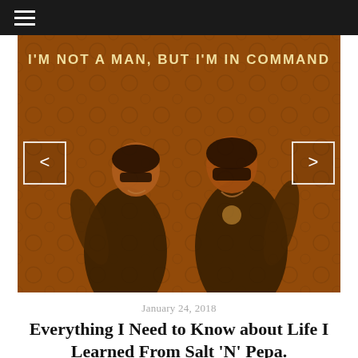≡
[Figure (photo): Two women wearing sunglasses and dark outfits posing in front of a dark ornate wallpaper background. Text at top reads: I'M NOT A MAN, BUT I'M IN COMMAND. Navigation arrows visible on left and right sides of image.]
January 24, 2018
Everything I Need to Know about Life I Learned From Salt 'N' Pepa.